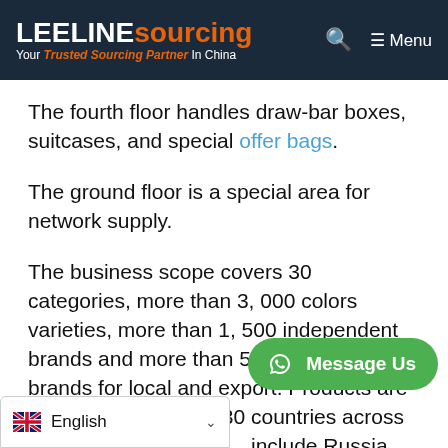LEELINE sourcing — Your Trusted Sourcing Partner In China
The fourth floor handles draw-bar boxes, suitcases, and special offer bags.
The ground floor is a special area for network supply.
The business scope covers 30 categories, more than 3, 000 colors varieties, more than 1, 500 independent brands and more than 500 well-known brands for local and export. Products are usually exp[orted to] 130 countries across the [world, the] [countries] include Russia, the United [States…]
[Figure (other): WhatsApp Message Us green rounded button overlay]
[Figure (other): English language selector bar with UK flag at bottom left of page]